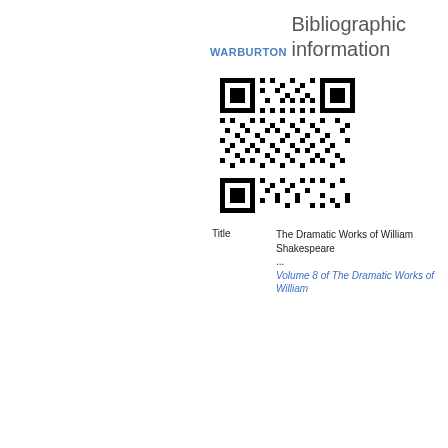WARBURTON
Bibliographic information
[Figure (other): QR code linking to bibliographic information for The Dramatic Works of William Shakespeare]
| Title | The Dramatic Works of William Shakespeare ...
Volume 8 of The Dramatic Works of William |